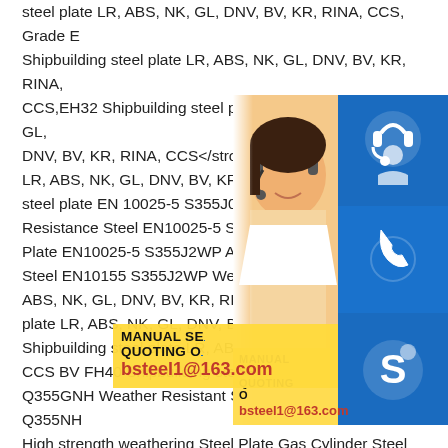steel plate LR, ABS, NK, GL, DNV, BV, KR, RINA, CCS, Grade E Shipbuilding steel plate LR, ABS, NK, GL, DNV, BV, KR, RINA, CCS,EH32 Shipbuilding steel plate <strong>LR, ABS, NK, GL, DNV, BV, KR, RINA, CCS</strong> EH36 LR, ABS, NK, GL, DNV, BV, KR, RINA, CCS steel plate EN 10025-5 S355J0WP Atmos Resistance Steel EN10025-5 S355J2W W Plate EN10025-5 S355J2WP Atmosphere Steel EN10155 S355J2WP Weather Resis ABS, NK, GL, DNV, BV, KR, RINA, CCS F plate LR, ABS, NK, GL, DNV, BV, KR, RIN Shipbuilding steel plate LR, ABS, NK, GL, CCS BV FH40 Shipbuilding steel plate Ch Q355GNH Weather Resistant Steel Plate GB/T 4171 Q355NH High strength weathering Steel Plate Gas Cylinder Steel coil GB/T6653 HP265 Gas Cylinder steel plates and coils GB/T6653 HP295 Welded Gas Cylinder steel plates and coils GB/T6653 HP325 Welded Gas Cylinder steel plates and coils P235GH Pressure Vessel Steel Plate P265GH Steel Plate P295GH steel
[Figure (photo): Photo of a woman wearing a headset, customer service representative, overlaid with blue icon boxes (headset icon, phone icon, Skype icon) and a yellow contact information panel showing email bsteel1@163.com]